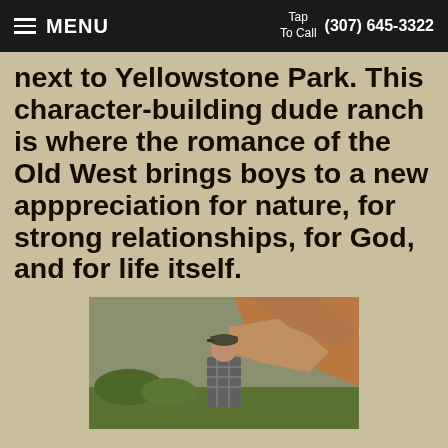MENU | Tap To Call (307) 645-3322
next to Yellowstone Park. This character-building dude ranch is where the romance of the Old West brings boys to a new apppreciation for nature, for strong relationships, for God, and for life itself.
[Figure (photo): A young man wearing a cap and plaid shirt standing outdoors with rocky hillside and green foliage in background]